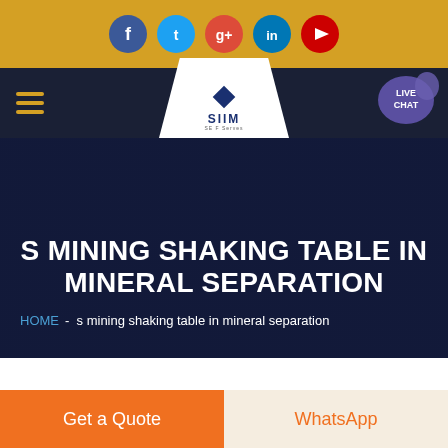[Figure (screenshot): Social media icon bar with Facebook, Twitter, Google+, LinkedIn, YouTube icons on golden/amber background]
[Figure (screenshot): Navigation bar with hamburger menu, SIIM logo in white trapezoid, and live chat bubble on dark navy background]
S MINING SHAKING TABLE IN MINERAL SEPARATION
HOME  -  s mining shaking table in mineral separation
[Figure (photo): Partial view of industrial shaking table equipment in a facility]
Get a Quote
WhatsApp